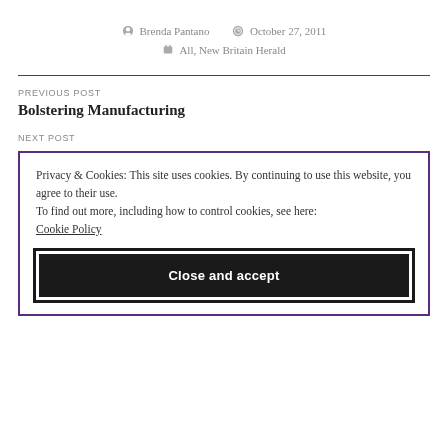Brenda Pantano  October 27, 2011  All, New Britain Herald
PREVIOUS POST
Bolstering Manufacturing
NEXT POST
Privacy & Cookies: This site uses cookies. By continuing to use this website, you agree to their use. To find out more, including how to control cookies, see here: Cookie Policy
Close and accept